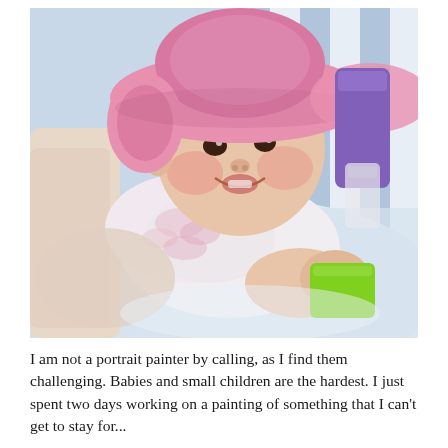[Figure (photo): A smiling baby wearing a large pink sun hat, dressed in a pink and white outfit, lying on a light surface and holding a green toy block. In the background there is a blue and white striped fabric and a purple cup/container.]
I am not a portrait painter by calling, as I find them challenging. Babies and small children are the hardest. I just spent two days working on a painting of something that I can't get to stay for...